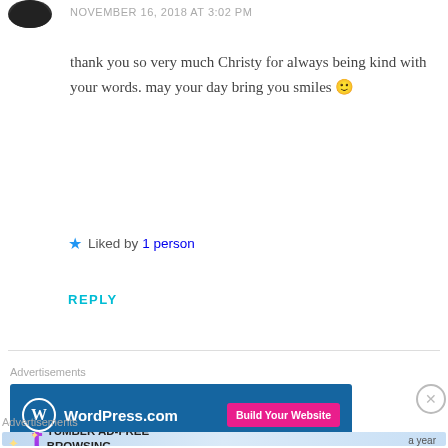NOVEMBER 16, 2018 AT 3:02 PM
thank you so very much Christy for always being kind with your words. may your day bring you smiles 🙂
★ Liked by 1 person
REPLY
Advertisements
[Figure (screenshot): WordPress.com advertisement banner with blue background, WordPress logo and 'Build Your Website' pink button]
REPORT THIS AD
Advertisements
[Figure (screenshot): Tumblr Ad-Free Browsing advertisement: $39.99 a year or $4.99 a month]